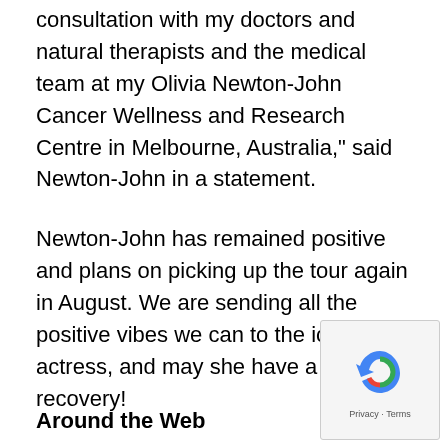consultation with my doctors and natural therapists and the medical team at my Olivia Newton-John Cancer Wellness and Research Centre in Melbourne, Australia," said Newton-John in a statement.
Newton-John has remained positive and plans on picking up the tour again in August. We are sending all the positive vibes we can to the iconic actress, and may she have a speedy recovery!
Around the Web